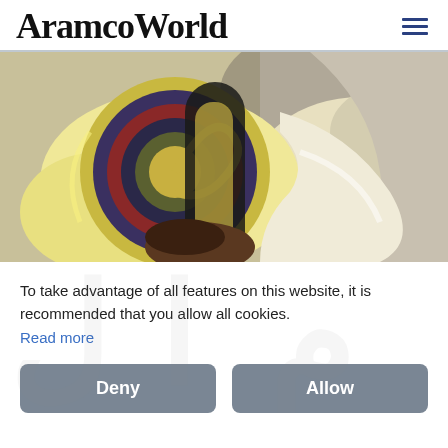AramcoWorld
[Figure (illustration): Abstract painting with swirling shapes in yellow, cream, olive, red, dark navy, and grey tones. Left side shows a large circular spiral motif with red and blue bands against a dark background, surrounded by bright yellow. Right side shows organic flowing shapes in cream, beige, and grey.]
To take advantage of all features on this website, it is recommended that you allow all cookies.
Read more
Deny
Allow